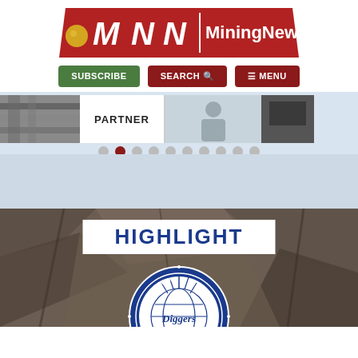[Figure (logo): MiningNews.net logo — bold red banner with white stylized MNN letters and gold nugget icon]
[Figure (screenshot): Navigation buttons: SUBSCRIBE (green), SEARCH (dark red with magnifier icon), MENU (dark red with hamburger icon)]
[Figure (photo): Partner banner strip with photos and PARTNER label, with carousel dots below (second dot active/dark red)]
[Figure (photo): Light blue/grey gap section]
HIGHLIGHT
[Figure (logo): Diggers & Co Mining Forum circular logo in blue and white, partially visible at bottom]